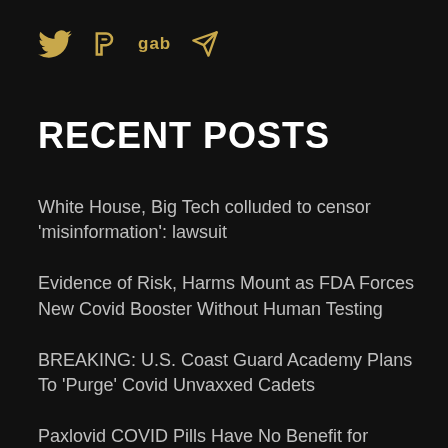[Figure (logo): Social media icons: Twitter bird, Parler P, gab text, Telegram paper plane — all in gold/yellow color on dark background]
RECENT POSTS
White House, Big Tech colluded to censor 'misinformation': lawsuit
Evidence of Risk, Harms Mount as FDA Forces New Covid Booster Without Human Testing
BREAKING: U.S. Coast Guard Academy Plans To 'Purge' Covid Unvaxxed Cadets
Paxlovid COVID Pills Have No Benefit for Adults 40-65, Study Shows